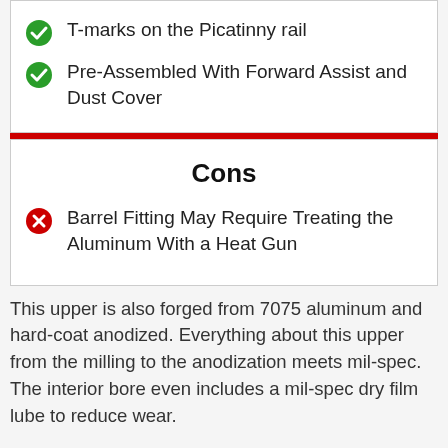T-marks on the Picatinny rail
Pre-Assembled With Forward Assist and Dust Cover
Cons
Barrel Fitting May Require Treating the Aluminum With a Heat Gun
This upper is also forged from 7075 aluminum and hard-coat anodized. Everything about this upper from the milling to the anodization meets mil-spec. The interior bore even includes a mil-spec dry film lube to reduce wear.
The Picatinny rail includes T-marks to ensure